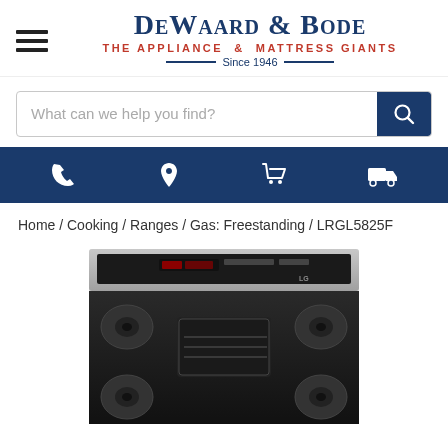DeWaard & Bode — The Appliance & Mattress Giants — Since 1946
What can we help you find?
Home / Cooking / Ranges / Gas: Freestanding / LRGL5825F
[Figure (photo): Product photo of LG freestanding gas range with stainless steel control panel and black cooktop, model LRGL5825F, partially visible from the top portion.]